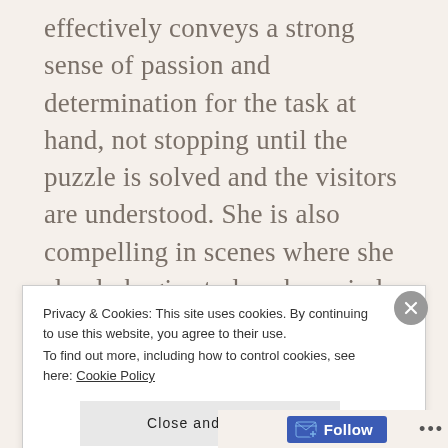effectively conveys a strong sense of passion and determination for the task at hand, not stopping until the puzzle is solved and the visitors are understood. She is also compelling in scenes where she slowly begins to lose her mind, through sleep deprivation and the gargantuan task at hand, and the scenes involving her daughter are very well played. Additionally, Forest Whitaker is a suitably authoritative presence and Jeremy Renner possibly gets his greatest role yet as
Privacy & Cookies: This site uses cookies. By continuing to use this website, you agree to their use.
To find out more, including how to control cookies, see here: Cookie Policy
Close and accept
Follow